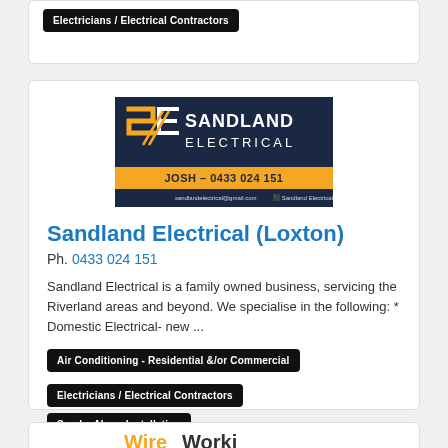Electricians / Electrical Contractors
[Figure (logo): Sandland Electrical logo: dark navy background with yellow/orange SE monogram, company name SANDLAND ELECTRICAL, phone JOSH - 0433 024 151, email sandlandelectrical@gmail.com, Facebook: Sandland Electrical, services: Commercial / Domestic / Rural, Airconditioning / Solar]
Sandland Electrical (Loxton)
Ph. 0433 024 151
Sandland Electrical is a family owned business, servicing the Riverland areas and beyond. We specialise in the following: * Domestic Electrical- new ...
Air Conditioning - Residential &/or Commercial
Electricians / Electrical Contractors
Smoke Alarm Installation
Solar Energy Systems / Panels &/or Equipment
[Figure (logo): Partial logo visible at bottom of page]